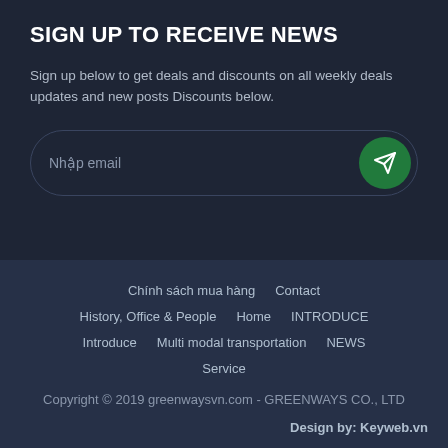SIGN UP TO RECEIVE NEWS
Sign up below to get deals and discounts on all weekly deals updates and new posts Discounts below.
Nhập email
Chính sách mua hàng  Contact  History, Office & People  Home  INTRODUCE  Introduce  Multi modal transportation  NEWS  Service
Copyright © 2019 greenwaysvn.com - GREENWAYS CO., LTD
Design by: Keyweb.vn